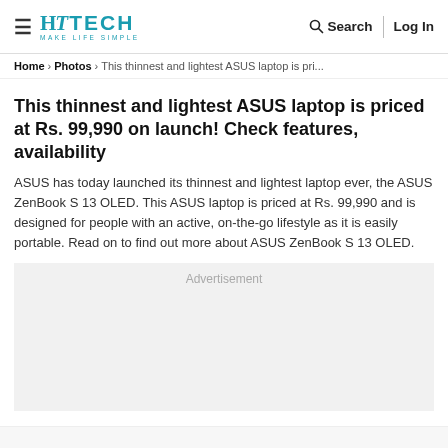HT TECH — MAKE LIFE SIMPLE | Search | Log In
Home > Photos > This thinnest and lightest ASUS laptop is pri...
This thinnest and lightest ASUS laptop is priced at Rs. 99,990 on launch! Check features, availability
ASUS has today launched its thinnest and lightest laptop ever, the ASUS ZenBook S 13 OLED. This ASUS laptop is priced at Rs. 99,990 and is designed for people with an active, on-the-go lifestyle as it is easily portable. Read on to find out more about ASUS ZenBook S 13 OLED.
[Figure (other): Advertisement placeholder box with light grey background]